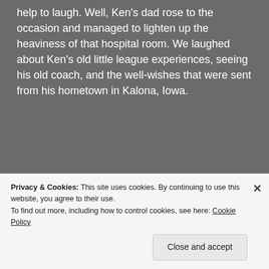help to laugh.  Well, Ken's dad rose to the occasion and managed to lighten up the heaviness of that hospital room.  We laughed about Ken's old little league experiences, seeing his old coach, and the well-wishes that were sent from his hometown in Kalona, Iowa.
[Figure (other): Advertisement banner with dark navy background. Text reads 'Opinions. We all have them!' with a pink 'Start a survey' button and a CrowdSignal logo circle.]
Privacy & Cookies: This site uses cookies. By continuing to use this website, you agree to their use.
To find out more, including how to control cookies, see here: Cookie Policy